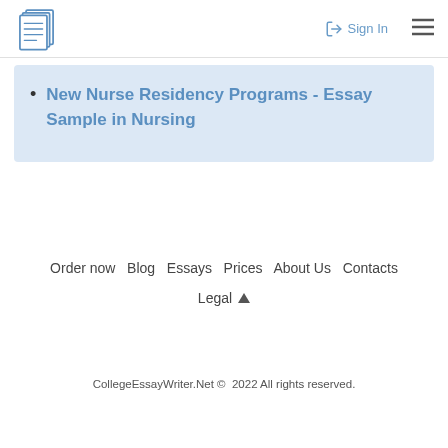Sign In
New Nurse Residency Programs - Essay Sample in Nursing
Order now  Blog  Essays  Prices  About Us  Contacts
Legal ▲
CollegeEssayWriter.Net ©  2022 All rights reserved.